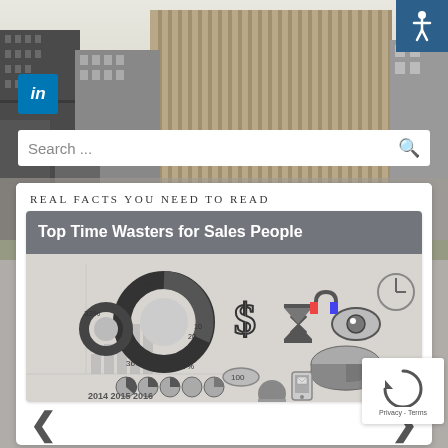[Figure (photo): City skyline background with tall buildings, light gray sky]
[Figure (logo): LinkedIn logo icon - blue square with white 'in' text]
[Figure (logo): Accessibility icon - blue square with wheelchair symbol]
Search ...
REAL FACTS YOU NEED TO READ
Top Time Wasters for Sales People
[Figure (infographic): Business infographic showing pie charts, dollar sign, hourglass, eye symbol, bar charts, and a man looking up, with years 2014 2015 2016 marked]
[Figure (logo): reCAPTCHA widget with circular arrow icon and Privacy - Terms text]